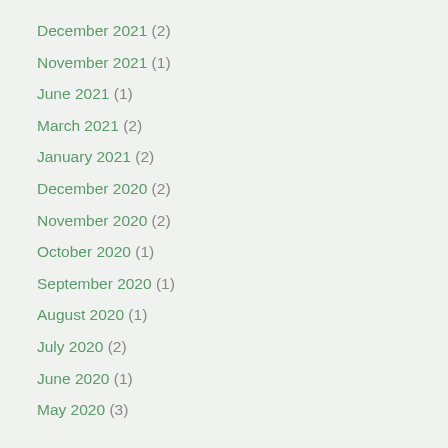December 2021 (2)
November 2021 (1)
June 2021 (1)
March 2021 (2)
January 2021 (2)
December 2020 (2)
November 2020 (2)
October 2020 (1)
September 2020 (1)
August 2020 (1)
July 2020 (2)
June 2020 (1)
May 2020 (3)